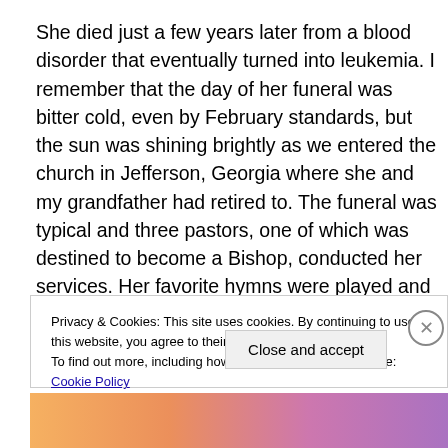She died just a few years later from a blood disorder that eventually turned into leukemia. I remember that the day of her funeral was bitter cold, even by February standards, but the sun was shining brightly as we entered the church in Jefferson, Georgia where she and my grandfather had retired to. The funeral was typical and three pastors, one of which was destined to become a Bishop, conducted her services. Her favorite hymns were played and moving statements made about her life and the impact she had on
Privacy & Cookies: This site uses cookies. By continuing to use this website, you agree to their use.
To find out more, including how to control cookies, see here: Cookie Policy